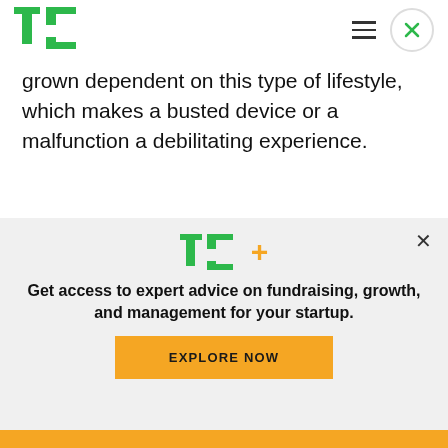[Figure (logo): TechCrunch TC logo in green]
grown dependent on this type of lifestyle, which makes a busted device or a malfunction a debilitating experience.
YC-backed Eden is launching to solve this.
The company offers on-demand tech pros that will come to you, based on a specified time and
[Figure (screenshot): TechCrunch TC+ subscription modal with text: Get access to expert advice on fundraising, growth, and management for your startup. EXPLORE NOW button.]